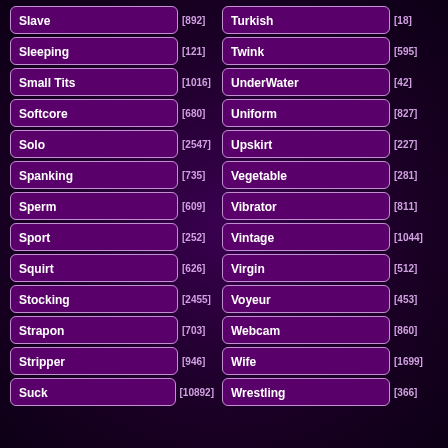Slave [892]
Turkish [18]
Sleeping [121]
Twink [595]
Small Tits [1016]
UnderWater [42]
Softcore [680]
Uniform [827]
Solo [2547]
Upskirt [227]
Spanking [735]
Vegetable [281]
Sperm [609]
Vibrator [811]
Sport [252]
Vintage [1044]
Squirt [626]
Virgin [512]
Stocking [2455]
Voyeur [453]
Strapon [703]
Webcam [860]
Stripper [946]
Wife [1699]
Suck [10892]
Wrestling [366]